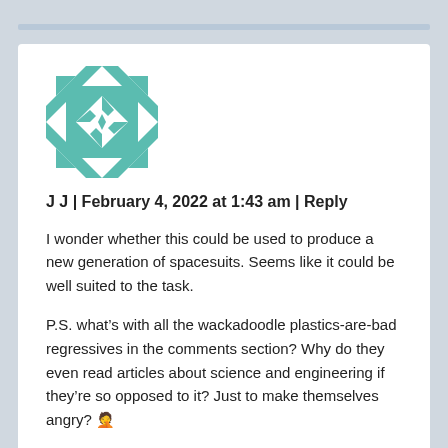[Figure (illustration): Teal and white geometric quilt-pattern avatar icon]
J J | February 4, 2022 at 1:43 am | Reply
I wonder whether this could be used to produce a new generation of spacesuits. Seems like it could be well suited to the task.
P.S. what’s with all the wackadoodle plastics-are-bad regressives in the comments section? Why do they even read articles about science and engineering if they’re so opposed to it? Just to make themselves angry? 🤦